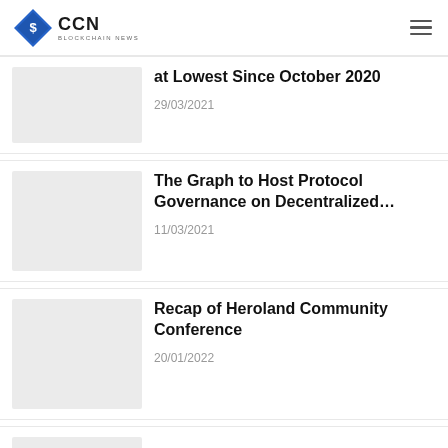CCN BLOCKCHAIN NEWS
at Lowest Since October 2020
29/03/2021
The Graph to Host Protocol Governance on Decentralized…
11/03/2021
Recap of Heroland Community Conference
20/01/2022